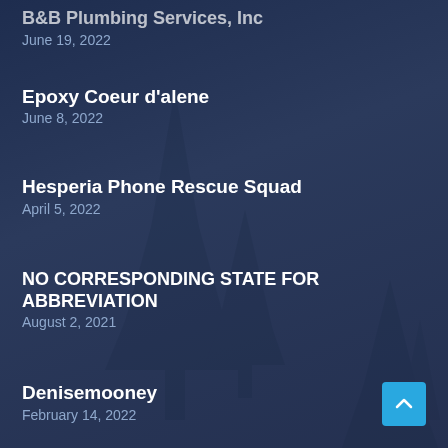B&B Plumbing Services, Inc
June 19, 2022
Epoxy Coeur d'alene
June 8, 2022
Hesperia Phone Rescue Squad
April 5, 2022
NO CORRESPONDING STATE FOR ABBREVIATION
August 2, 2021
Denisemooney
February 14, 2022